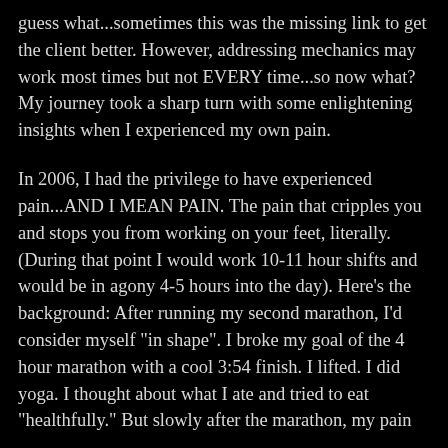guess what...sometimes this was the missing link to get the client better. However, addressing mechanics may work most times but not EVERY time...so now what? My journey took a sharp turn with some enlightening insights when I experienced my own pain.

In 2006, I had the privilege to have experienced pain...AND I MEAN PAIN. The pain that cripples you and stops you from working on your feet, literally. (During that point I would work 10-11 hour shifts and would be in agony 4-5 hours into the day). Here's the background: After running my second marathon, I'd consider myself "in shape". I broke my goal of the 4 hour marathon with a cool 3:54 finish. I lifted. I did yoga. I thought about what I ate and tried to eat "healthfully." But slowly after the marathon, my pain